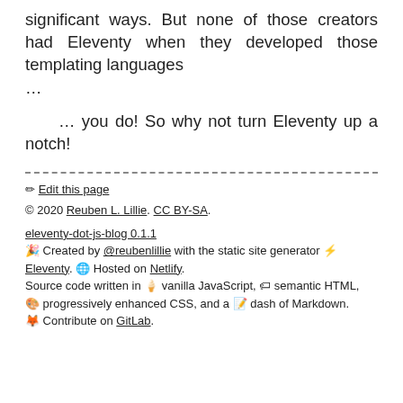significant ways. But none of those creators had Eleventy when they developed those templating languages ...
… you do! So why not turn Eleventy up a notch!
✏ Edit this page
© 2020 Reuben L. Lillie. CC BY-SA.
eleventy-dot-js-blog 0.1.1
🎉 Created by @reubenlillie with the static site generator ⚡ Eleventy. 🌐 Hosted on Netlify.
Source code written in 🍦 vanilla JavaScript, 🏷 semantic HTML, 🎨 progressively enhanced CSS, and a 📝 dash of Markdown. 🦊 Contribute on GitLab.